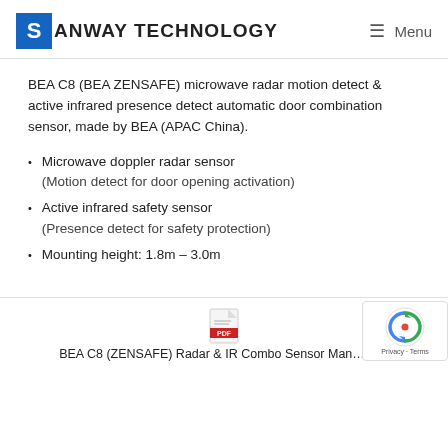SANWAY TECHNOLOGY — Menu
BEA C8 (BEA ZENSAFE) microwave radar motion detect & active infrared presence detect automatic door combination sensor, made by BEA (APAC China).
Microwave doppler radar sensor (Motion detect for door opening activation)
Active infrared safety sensor (Presence detect for safety protection)
Mounting height: 1.8m – 3.0m
[Figure (other): PDF file icon]
BEA C8 (ZENSAFE) Radar & IR Combo Sensor Man…